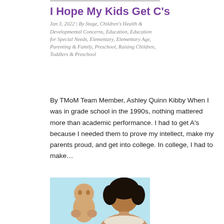I Hope My Kids Get C's
Jan 3, 2022 | By Stage, Children's Health & Developmental Concerns, Education, Education for Special Needs, Elementary, Elementary Age, Parenting & Family, Preschool, Raising Children, Toddlers & Preschool
By TMoM Team Member, Ashley Quinn Kibby When I was in grade school in the 1990s, nothing mattered more than academic performance. I had to get A's because I needed them to prove my intellect, make my parents proud, and get into college. In college, I had to make…
[Figure (photo): A woman holding a newborn baby up to her face, light blue background, mother and infant portrait.]